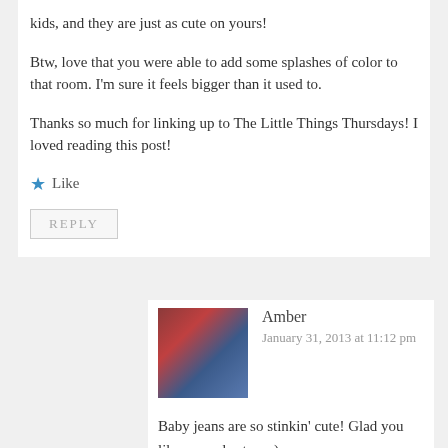kids, and they are just as cute on yours!
Btw, love that you were able to add some splashes of color to that room. I'm sure it feels bigger than it used to.
Thanks so much for linking up to The Little Things Thursdays! I loved reading this post!
★ Like
REPLY
Amber
January 31, 2013 at 11:12 pm
Baby jeans are so stinkin' cute! Glad you like our color too =)
And we're linked up! Thanks for extending the invite!